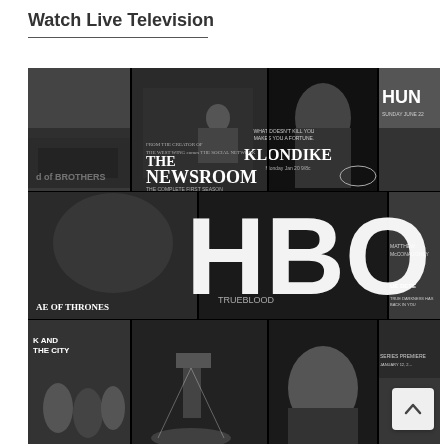Watch Live Television
[Figure (photo): A black and white collage of HBO television show posters including Band of Brothers, The Newsroom, Klondike, True Blood, Game of Thrones, Sex and the City, True Detective, and others, with the large HBO logo overlaid in white in the center.]